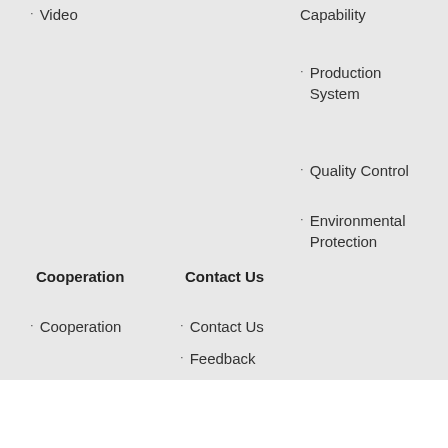Video
Capability
Production System
Quality Control
Environmental Protection
Cooperation
Contact Us
Cooperation
Contact Us
Feedback